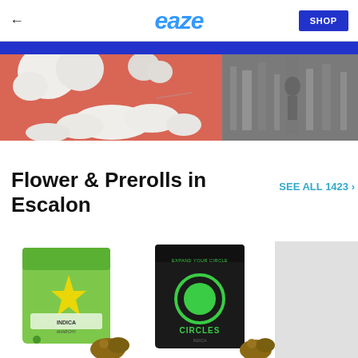eaze | SHOP
[Figure (photo): Hero banner image with two sections: left shows cartoon clouds and balloons on a pink/coral background, right shows a black and white photo of a person]
Flower & Prerolls in Escalon
SEE ALL 1423 ›
[Figure (photo): Anarchy branded cannabis flower bag (green and yellow illustrated packaging, Indica label) with cannabis flower buds visible]
[Figure (photo): Circles branded cannabis bag (black packaging with green circle logo, 'Expand Your Circle' text) with cannabis flower buds visible]